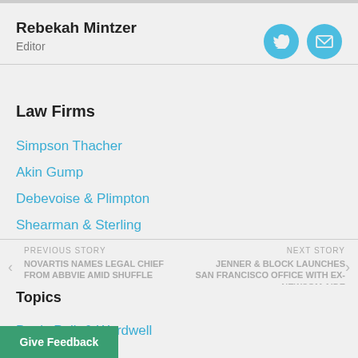Rebekah Mintzer
Editor
Law Firms
Simpson Thacher
Akin Gump
Debevoise & Plimpton
Shearman & Sterling
Sullivan & Cromwell
Willkie Farr & Gallagher
Latham & Watkins
Davis Polk & Wardwell
PREVIOUS STORY
NOVARTIS NAMES LEGAL CHIEF FROM ABBVIE AMID SHUFFLE
NEXT STORY
JENNER & BLOCK LAUNCHES SAN FRANCISCO OFFICE WITH EX-NEWSOM AIDE
Topics
Give Feedback